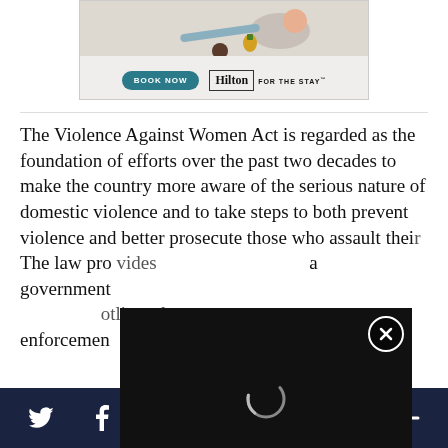[Figure (photo): Hilton hotel advertisement banner with 'BOOK NOW' button and Hilton logo with 'FOR THE STAY' text]
The Violence Against Women Act is regarded as the foundation of efforts over the past two decades to make the country more aware of the serious nature of domestic violence and to take steps to both prevent violence and better prosecute those who assault their... The law pro... a government... otlines, law enforcement... e.
[Figure (screenshot): Video player overlay with loading spinner, close (X) button, and mute icon on dark background]
Social sharing bar with Twitter, Facebook, Email, LinkedIn, WhatsApp, Flipboard, and more (+) icons